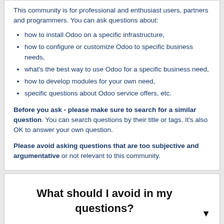This community is for professional and enthusiast users, partners and programmers. You can ask questions about:
how to install Odoo on a specific infrastructure,
how to configure or customize Odoo to specific business needs,
what's the best way to use Odoo for a specific business need,
how to develop modules for your own need,
specific questions about Odoo service offers, etc.
Before you ask - please make sure to search for a similar question. You can search questions by their title or tags. It's also OK to answer your own question.
Please avoid asking questions that are too subjective and argumentative or not relevant to this community.
What should I avoid in my questions?